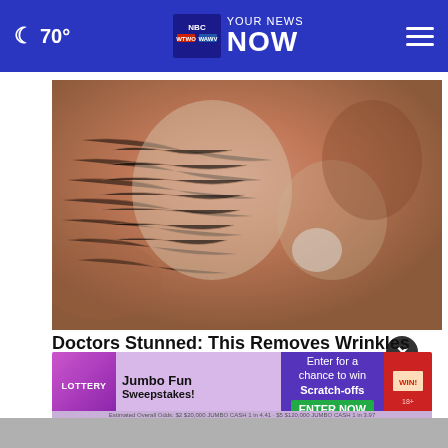70° YOUR NEWS NOW
[Figure (photo): Close-up photo of elderly person's face with deep wrinkles and what appears to be a skin mask or treatment applied]
Doctors Stunned: This Removes Wrinkles and Eye bags Like Crazy! (Try Tonight!)
Trending
[Figure (infographic): Lottery advertisement banner - Jumbo Fun Sweepstakes, Enter for a chance to win Scratch-offs, ENTER NOW button, 18+ disclaimer]